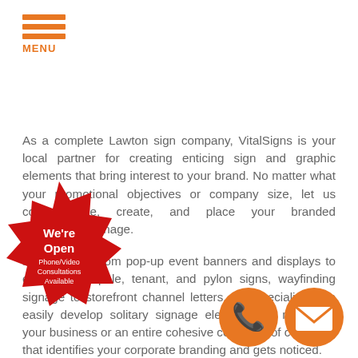[Figure (logo): Orange hamburger menu icon with three horizontal orange lines and orange text 'MENU' below]
As a complete Lawton sign company, VitalSigns is your local partner for creating enticing sign and graphic elements that bring interest to your brand. No matter what your promotional objectives or company size, let us conceptualize, create, and place your branded commercial signage.
For any sign from pop-up event banners and displays to eye-catching pole, tenant, and pylon signs, wayfinding signage to storefront channel letters, our specialists can easily develop solitary signage elements for marketing your business or an entire cohesive collection of corporate that identifies your corporate branding and gets noticed.
rking crew of qualified si p rs rea he specific needs of your busin and are
[Figure (infographic): Red starburst badge with white text 'We're Open' and 'Phone/Video Consultations Available']
[Figure (infographic): Orange circle with white phone handset icon]
[Figure (infographic): Orange circle with white envelope/mail icon]